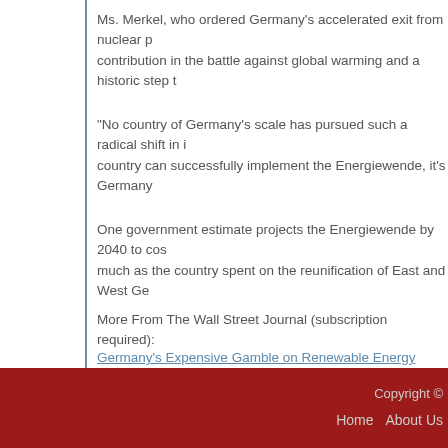Ms. Merkel, who ordered Germany's accelerated exit from nuclear p... contribution in the battle against global warming and a historic step t...
“No country of Germany’s scale has pursued such a radical shift in i... country can successfully implement the Energiewende, it’s Germany...
One government estimate projects the Energiewende by 2040 to cos... much as the country spent on the reunification of East and West Ge...
More From The Wall Street Journal (subscription required):
Germany’s Expensive Gamble on Renewable Energy
Copyright ©   Home   About Us